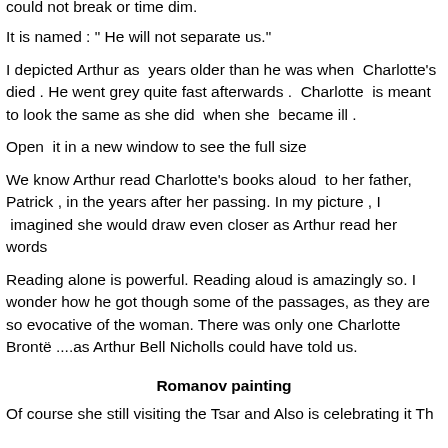could not break or time dim.
It is named : " He will not separate us."
I depicted Arthur as  years older than he was when  Charlotte's died . He went grey quite fast afterwards .  Charlotte  is meant to look the same as she did  when she  became ill .
Open  it in a new window to see the full size
We know Arthur read Charlotte's books aloud  to her father, Patrick , in the years after her passing. In my picture , I  imagined she would draw even closer as Arthur read her words
Reading alone is powerful. Reading aloud is amazingly so. I wonder how he got though some of the passages, as they are so evocative of the woman. There was only one Charlotte Brontë ....as Arthur Bell Nicholls could have told us.
Romanov painting
Of course she still visiting the Tsar and Also is celebrating it Th...